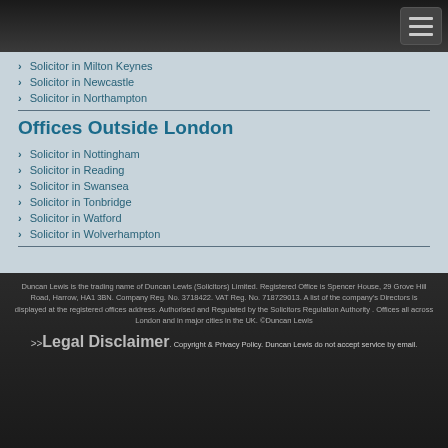Solicitor in Milton Keynes
Solicitor in Newcastle
Solicitor in Northampton
Offices Outside London
Solicitor in Nottingham
Solicitor in Reading
Solicitor in Swansea
Solicitor in Tonbridge
Solicitor in Watford
Solicitor in Wolverhampton
Duncan Lewis is the trading name of Duncan Lewis (Solicitors) Limited. Registered Office is Spencer House, 29 Grove Hill Road, Harrow, HA1 3BN. Company Reg. No. 3718422. VAT Reg. No. 718729013. A list of the company's Directors is displayed at the registered offices address. Authorised and Regulated by the Solicitors Regulation Authority . Offices all across London and in major cities in the UK. ©Duncan Lewis >>Legal Disclaimer. Copyright & Privacy Policy. Duncan Lewis do not accept service by email.